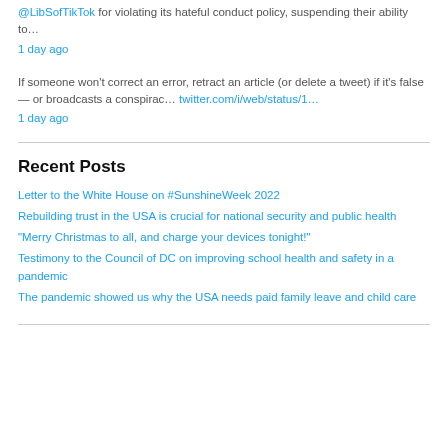@LibSofTikTok for violating its hateful conduct policy, suspending their ability to… 1 day ago
If someone won't correct an error, retract an article (or delete a tweet) if it's false — or broadcasts a conspirac… twitter.com/i/web/status/1… 1 day ago
Recent Posts
Letter to the White House on #SunshineWeek 2022
Rebuilding trust in the USA is crucial for national security and public health
"Merry Christmas to all, and charge your devices tonight!"
Testimony to the Council of DC on improving school health and safety in a pandemic
The pandemic showed us why the USA needs paid family leave and child care